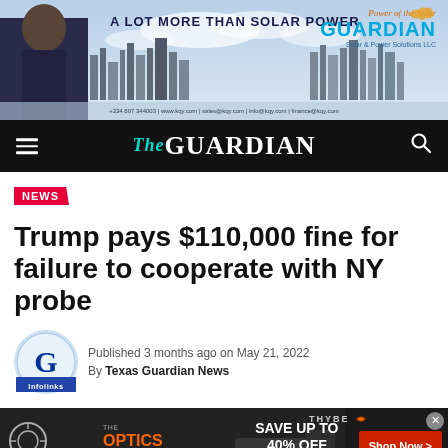[Figure (photo): Guardian Solar & Power Solutions LLC advertisement banner showing a woman in professional attire against a city skyline background with text 'A LOT MORE THAN SOLAR POWER']
The GUARDIAN
NEWS
Trump pays $110,000 fine for failure to cooperate with NY probe
Published 3 months ago on May 21, 2022
By Texas Guardian News
[Figure (photo): Advertisement banner for Optics Planet 20 Years of Gear showing SAVE UP TO 40% OFF INSTANTLY with Shop Now button]